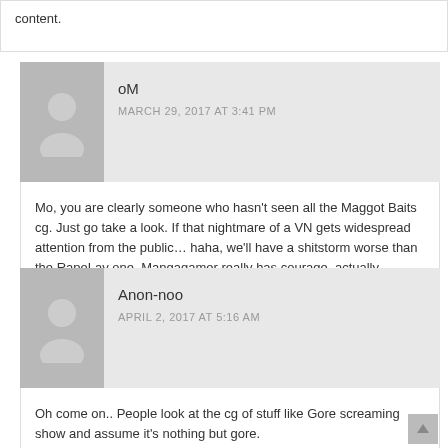content.
oM
MARCH 29, 2017 AT 3:41 PM
Mo, you are clearly someone who hasn’t seen all the Maggot Baits cg. Just go take a look. If that nightmare of a VN gets widespread attention from the public… haha, we’ll have a shitstorm worse than the RapeLay one. Mangagamer really has courage, actually choosing it.
Anon-noo
APRIL 2, 2017 AT 5:16 AM
Oh come on.. People look at the cg of stuff like Gore screaming show and assume it’s nothing but gore.

Truth is that it was beloved because of it’s amazing soundtrack, how freaking fun it was, how good the seiyuu’s where, and because it had a good plot.

The guro only happened after MANY intentional decisions, and there was reasons for their ends